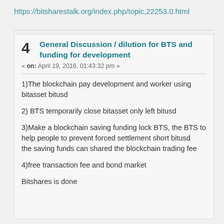https://bitsharestalk.org/index.php/topic,22253.0.html
4  General Discussion / dilution for BTS and funding for development
« on: April 19, 2016, 01:43:32 pm »
1)The blockchain pay development and worker using bitasset bitusd
2) BTS temporarily close bitasset only left bitusd
3)Make a blockchain saving funding lock BTS, the BTS to help people to prevent forced settlement short bitusd
the saving funds can shared the blockchain trading fee
4)free transaction fee and bond market
Bitshares is done